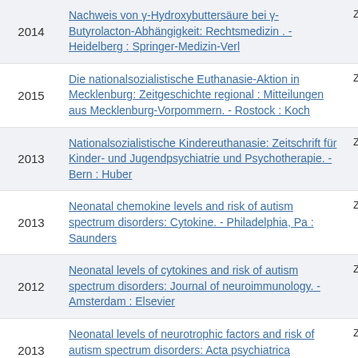| Year | Title | Ze... |
| --- | --- | --- |
| 2014 | Nachweis von γ-Hydroxybuttersäure bei γ-Butyrolacton-Abhängigkeit: Rechtsmedizin . - Heidelberg : Springer-Medizin-Verl | Ze |
| 2015 | Die nationalsozialistische Euthanasie-Aktion in Mecklenburg: Zeitgeschichte regional : Mitteilungen aus Mecklenburg-Vorpommern. - Rostock : Koch | Ze |
| 2013 | Nationalsozialistische Kindereuthanasie: Zeitschrift für Kinder- und Jugendpsychiatrie und Psychotherapie. - Bern : Huber | Ze |
| 2013 | Neonatal chemokine levels and risk of autism spectrum disorders: Cytokine. - Philadelphia, Pa : Saunders | Ze |
| 2012 | Neonatal levels of cytokines and risk of autism spectrum disorders: Journal of neuroimmunology. - Amsterdam : Elsevier | Ze |
| 2013 | Neonatal levels of neurotrophic factors and risk of autism spectrum disorders: Acta psychiatrica Scandinavica. - Oxford : Wiley-Blackwell | Ze |
|  | Die Nervenheilkunde in der DDR im Spiegel der |  |